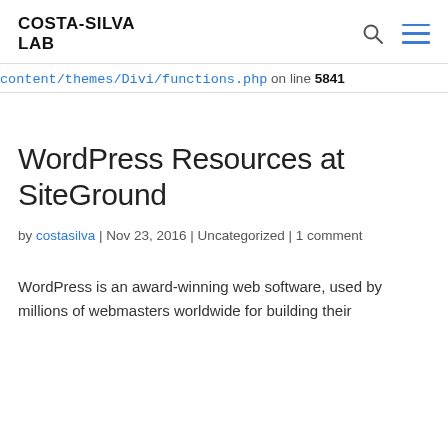COSTA-SILVA LAB
content/themes/Divi/functions.php on line 5841
WordPress Resources at SiteGround
by costasilva | Nov 23, 2016 | Uncategorized | 1 comment
WordPress is an award-winning web software, used by millions of webmasters worldwide for building their